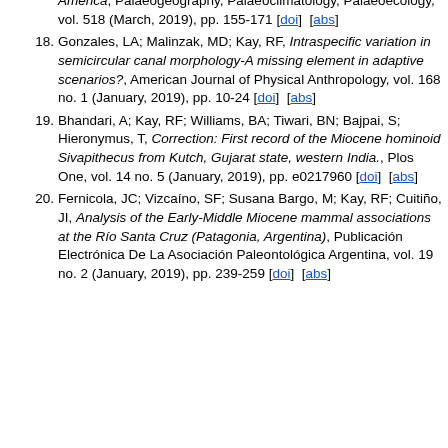America, Palaeogeography, Palaeoclimatology, Palaeoecology, vol. 518 (March, 2019), pp. 155-171 [doi] [abs]
18. Gonzales, LA; Malinzak, MD; Kay, RF, Intraspecific variation in semicircular canal morphology-A missing element in adaptive scenarios?, American Journal of Physical Anthropology, vol. 168 no. 1 (January, 2019), pp. 10-24 [doi] [abs]
19. Bhandari, A; Kay, RF; Williams, BA; Tiwari, BN; Bajpai, S; Hieronymus, T, Correction: First record of the Miocene hominoid Sivapithecus from Kutch, Gujarat state, western India., Plos One, vol. 14 no. 5 (January, 2019), pp. e0217960 [doi] [abs]
20. Fernicola, JC; Vizcaíno, SF; Susana Bargo, M; Kay, RF; Cuitiño, JI, Analysis of the Early-Middle Miocene mammal associations at the Río Santa Cruz (Patagonia, Argentina), Publicación Electrónica De La Asociación Paleontológica Argentina, vol. 19 no. 2 (January, 2019), pp. 239-259 [doi] [abs]